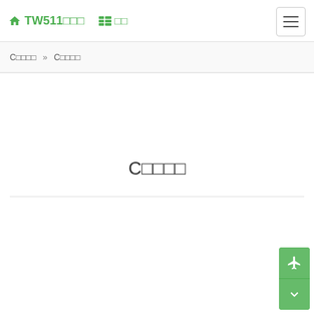TW511□□□  □□  ☰
C□□□□ » C□□□□
C□□□□